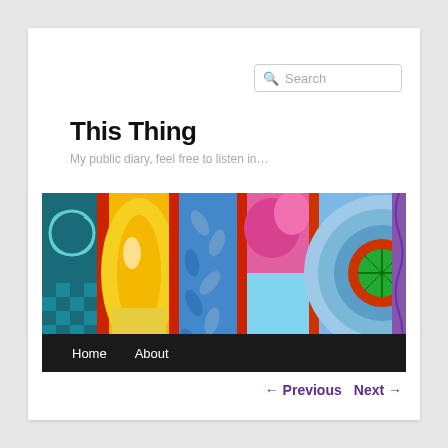Search
This Thing
My public diary, feel free to listen in…
[Figure (photo): Colorful quilted fabric banner with circular and abstract patterns in blue, yellow, orange, red, green and pink tones]
Home   About
← Previous   Next →